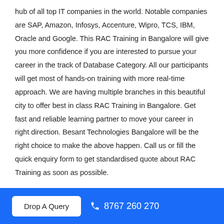hub of all top IT companies in the world. Notable companies are SAP, Amazon, Infosys, Accenture, Wipro, TCS, IBM, Oracle and Google. This RAC Training in Bangalore will give you more confidence if you are interested to pursue your career in the track of Database Category. All our participants will get most of hands-on training with more real-time approach. We are having multiple branches in this beautiful city to offer best in class RAC Training in Bangalore. Get fast and reliable learning partner to move your career in right direction. Besant Technologies Bangalore will be the right choice to make the above happen. Call us or fill the quick enquiry form to get standardised quote about RAC Training as soon as possible.
RAC Training Reviews
Drop A Query   8767 260 270